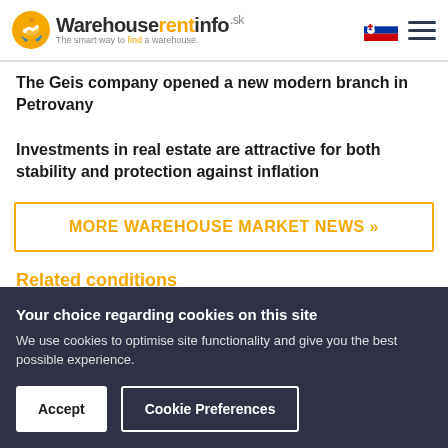Warehouserentinfo.sk — The smart way to find a warehouse.
The Geis company opened a new modern branch in Petrovany
Investments in real estate are attractive for both stability and protection against inflation
MORE WAREHOUSE MARKET NEWS »
Your choice regarding cookies on this site
We use cookies to optimise site functionality and give you the best possible experience.